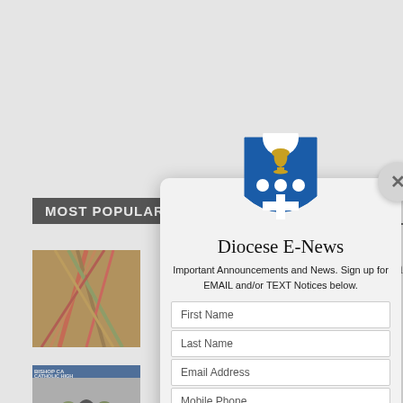MOST POPULAR
[Figure (photo): Thumbnail image of palm fronds, red and gold]
[Figure (photo): Thumbnail image of Bishop CA Catholic High group photo]
[Figure (photo): Thumbnail image of fried food]
[Figure (screenshot): Diocese E-News email signup modal with shield logo, First Name, Last Name, Email Address, Mobile Phone fields and Sign Me Up button]
Diocese E-News
Important Announcements and News. Sign up for EMAIL and/or TEXT Notices below.
First Name
Last Name
Email Address
Mobile Phone
Sign Me Up